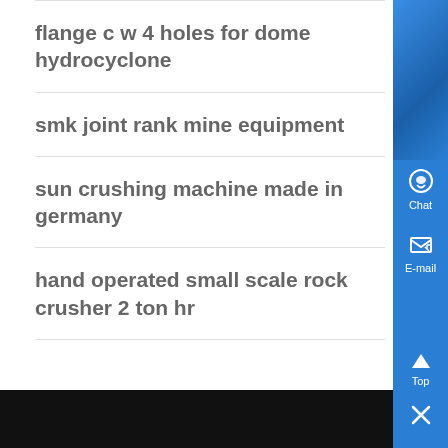flange c w 4 holes for dome hydrocyclone
smk joint rank mine equipment
sun crushing machine made in germany
hand operated small scale rock crusher 2 ton hr
[Figure (screenshot): Blue sidebar with Chat, E-mail, Top, and close (X) buttons on the right side of the page]